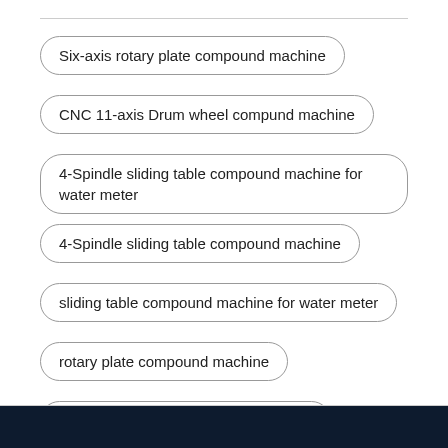Six-axis rotary plate compound machine
CNC 11-axis Drum wheel compund machine
4-Spindle sliding table compound machine for water meter
4-Spindle sliding table compound machine
sliding table compound machine for water meter
rotary plate compound machine
6 axis rotary plate compound machine
CNC rotary plate compound machine
CNC 6 axis rotary plate compound machine